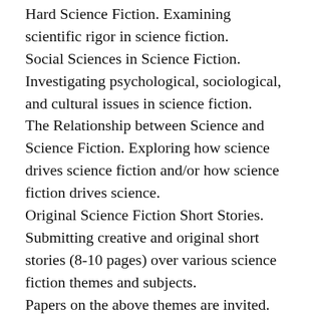Hard Science Fiction. Examining scientific rigor in science fiction.
Social Sciences in Science Fiction. Investigating psychological, sociological, and cultural issues in science fiction.
The Relationship between Science and Science Fiction. Exploring how science drives science fiction and/or how science fiction drives science.
Original Science Fiction Short Stories. Submitting creative and original short stories (8-10 pages) over various science fiction themes and subjects.
Papers on the above themes are invited. However, papers on other subjects related to the above topics will also be considered.